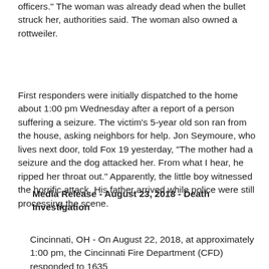officers." The woman was already dead when the bullet struck her, authorities said. The woman also owned a rottweiler.
First responders were initially dispatched to the home about 1:00 pm Wednesday after a report of a person suffering a seizure. The victim's 5-year old son ran from the house, asking neighbors for help. Jon Seymoure, who lives next door, told Fox 19 yesterday, "The mother had a seizure and the dog attacked her. From what I hear, he ripped her throat out." Apparently, the little boy witnessed the horrific attack. His father arrived while police were still processing the scene.
Media Release - August 23, 2018 - Death Investigation
Cincinnati, OH - On August 22, 2018, at approximately 1:00 pm, the Cincinnati Fire Department (CFD) responded to 1635